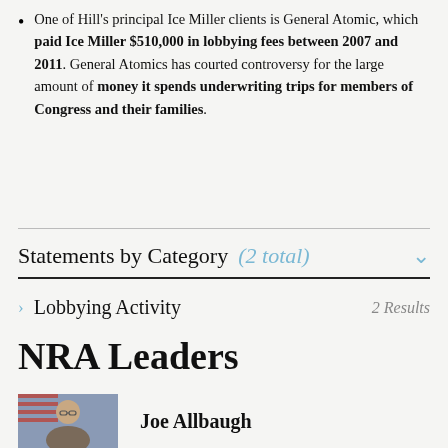One of Hill's principal Ice Miller clients is General Atomic, which paid Ice Miller $510,000 in lobbying fees between 2007 and 2011. General Atomics has courted controversy for the large amount of money it spends underwriting trips for members of Congress and their families.
Statements by Category (2 total)
Lobbying Activity  2 Results
NRA Leaders
Joe Allbaugh